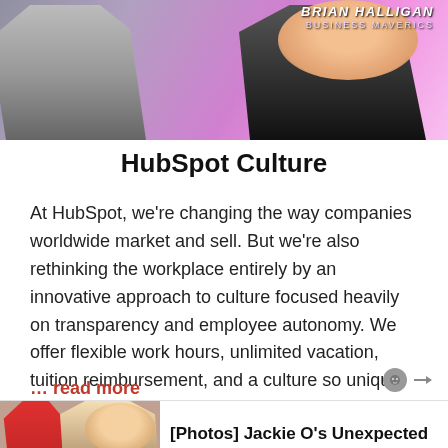[Figure (photo): Top banner photo of two people (TV show hosts) against a purple/pink gradient background with text 'Brian Halligan Business Maverics' in top right corner]
HubSpot Culture
At HubSpot, we're changing the way companies worldwide market and sell. But we're also rethinking the workplace entirely by an innovative approach to culture focused heavily on transparency and employee autonomy. We offer flexible work hours, unlimited vacation, tuition reimbursement, and a culture so unique that our Culture Code went viral (you can check it
... read more
[Figure (photo): Bottom advertisement image showing Jackie Kennedy photo with text '[Photos] Jackie O's Unexpected Shoe Trick S...']
[Figure (photo): Bottom gray/orange decorative strip]